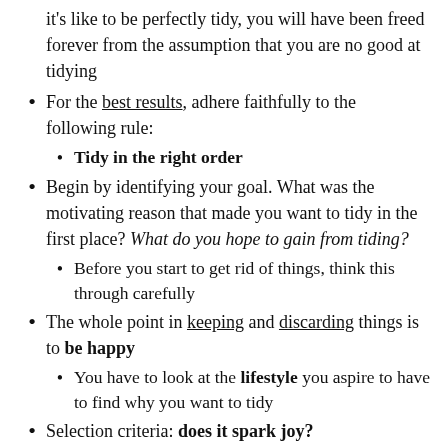But once it's finished and you experience what it's like to be perfectly tidy, you will have been freed forever from the assumption that you are no good at tidying
For the best results, adhere faithfully to the following rule:
Tidy in the right order
Begin by identifying your goal. What was the motivating reason that made you want to tidy in the first place? What do you hope to gain from tiding?
Before you start to get rid of things, think this through carefully
The whole point in keeping and discarding things is to be happy
You have to look at the lifestyle you aspire to have to find why you want to tidy
Selection criteria: does it spark joy?